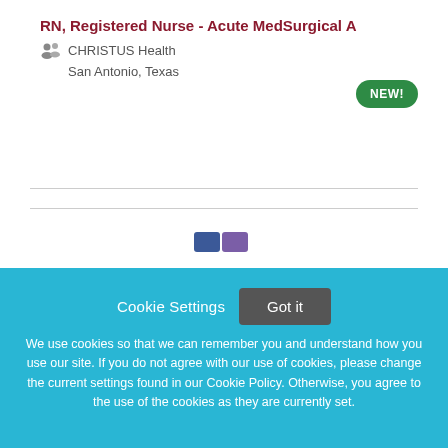RN, Registered Nurse - Acute MedSurgical A
CHRISTUS Health
San Antonio, Texas
NEW!
Cookie Settings  Got it
We use cookies so that we can remember you and understand how you use our site. If you do not agree with our use of cookies, please change the current settings found in our Cookie Policy. Otherwise, you agree to the use of the cookies as they are currently set.